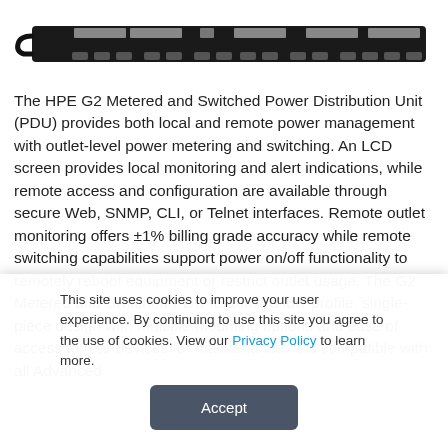[Figure (photo): HPE G2 Metered and Switched Power Distribution Unit (PDU) — long horizontal black bar with labeled outlet groups]
The HPE G2 Metered and Switched Power Distribution Unit (PDU) provides both local and remote power management with outlet-level power metering and switching. An LCD screen provides local monitoring and alert indications, while remote access and configuration are available through secure Web, SNMP, CLI, or Telnet interfaces. Remote outlet monitoring offers ±1% billing grade accuracy while remote switching capabilities support power on/off functionality to remotely reboot equipment or restrict outlet usage. The G2 Metered and Switched PDU features a low-profile, single-piece design with multiple mounting options and ease of access to rear devices for maintenance. It is compatible with all Advanced
This site uses cookies to improve your user experience. By continuing to use this site you agree to the use of cookies. View our Privacy Policy to learn more.